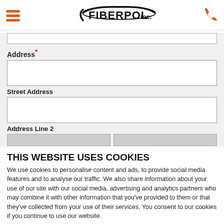FIBERPOL inc. [navigation header with hamburger menu and phone icon]
Address* [form field label]
Street Address [form sub-label]
Address Line 2 [form sub-label]
THIS WEBSITE USES COOKIES
We use cookies to personalise content and ads, to provide social media features and to analyse our traffic. We also share information about your use of our site with our social media, advertising and analytics partners who may combine it with other information that you've provided to them or that they've collected from your use of their services. You consent to our cookies if you continue to use our website.
Use necessary cookies only
Allow all cookies
Show details